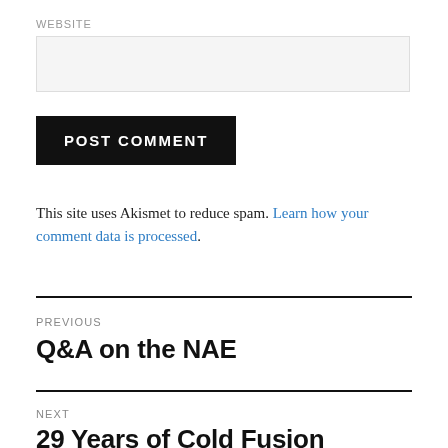WEBSITE
POST COMMENT
This site uses Akismet to reduce spam. Learn how your comment data is processed.
PREVIOUS
Q&A on the NAE
NEXT
29 Years of Cold Fusion